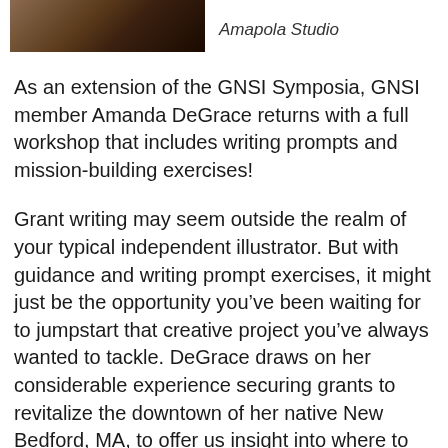[Figure (photo): Partial photo at top of page showing a person, cropped at the bottom edge]
Amapola Studio
As an extension of the GNSI Symposia, GNSI member Amanda DeGrace returns with a full workshop that includes writing prompts and mission-building exercises!
Grant writing may seem outside the realm of your typical independent illustrator. But with guidance and writing prompt exercises, it might just be the opportunity you’ve been waiting for to jumpstart that creative project you’ve always wanted to tackle. DeGrace draws on her considerable experience securing grants to revitalize the downtown of her native New Bedford, MA, to offer us insight into where to look, how to present your mission, and consider